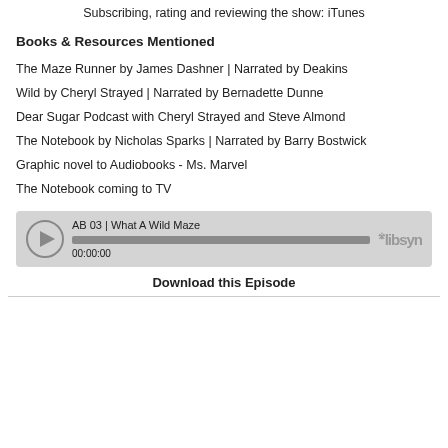Subscribing, rating and reviewing the show: iTunes
Books & Resources Mentioned
The Maze Runner by James Dashner | Narrated by Deakins
Wild by Cheryl Strayed | Narrated by Bernadette Dunne
Dear Sugar Podcast with Cheryl Strayed and Steve Almond
The Notebook by Nicholas Sparks | Narrated by Barry Bostwick
Graphic novel to Audiobooks - Ms. Marvel
The Notebook coming to TV
[Figure (other): Audio player widget showing 'AB 03 | What A Wild Maze', progress bar at 00:00:00, with libsyn branding]
Download this Episode